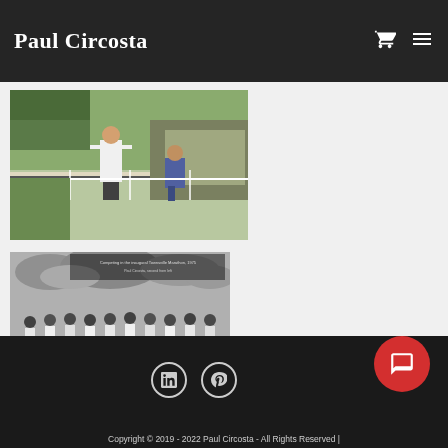Paul Circosta
[Figure (photo): Person in white shirt standing on a track or sports ground with bleachers in background, another person seated to the right]
[Figure (photo): Black and white vintage photo of a group of runners at the start of a race, approximately 10 athletes in running gear]
Competing in the inaugural Townsville Marathon, 1975
Copyright © 2019 - 2022 Paul Circosta - All Rights Reserved |